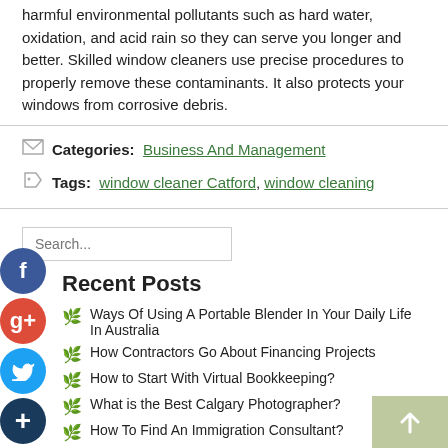harmful environmental pollutants such as hard water, oxidation, and acid rain so they can serve you longer and better. Skilled window cleaners use precise procedures to properly remove these contaminants. It also protects your windows from corrosive debris.
Categories: Business And Management
Tags: window cleaner Catford, window cleaning
Search...
Recent Posts
Ways Of Using A Portable Blender In Your Daily Life In Australia
How Contractors Go About Financing Projects
How to Start With Virtual Bookkeeping?
What is the Best Calgary Photographer?
How To Find An Immigration Consultant?